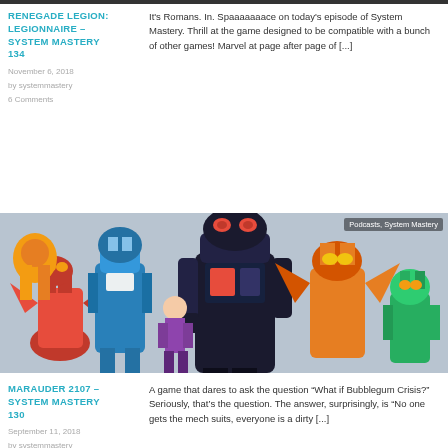RENEGADE LEGION: LEGIONNAIRE – SYSTEM MASTERY 134
November 6, 2018
by systemmastery
6 Comments
It's Romans. In. Spaaaaaaace on today's episode of System Mastery. Thrill at the game designed to be compatible with a bunch of other games! Marvel at page after page of [...]
[Figure (photo): Colorful anime-style illustration of various mecha/robot characters grouped together, with overlay tag reading 'Podcasts, System Mastery']
MARAUDER 2107 – SYSTEM MASTERY 130
September 11, 2018
by systemmastery
A game that dares to ask the question "What if Bubblegum Crisis?" Seriously, that's the question. The answer, surprisingly, is "No one gets the mech suits, everyone is a dirty [...]